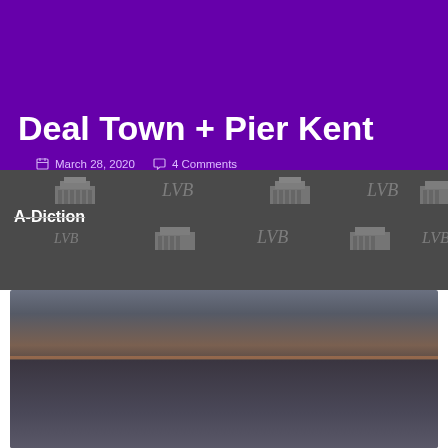Search    Menu
Deal Town + Pier Kent
March 28, 2020   4 Comments
A-Diction
[Figure (photo): Coastal photograph showing Deal Town and Pier in Kent, with cloudy sky, horizon line, and sea]